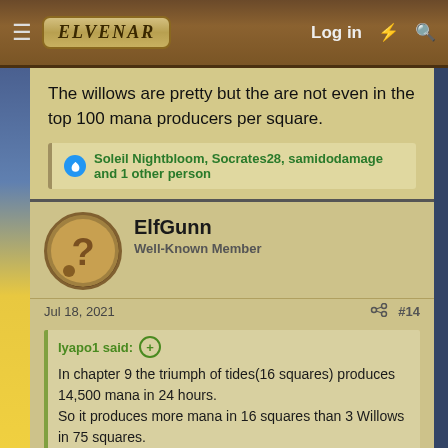ELVENAR  Log in
The willows are pretty but the are not even in the top 100 mana producers per square.
Soleil Nightbloom, Socrates28, samidodamage and 1 other person
ElfGunn
Well-Known Member
Jul 18, 2021   #14
Iyapo1 said:
In chapter 9 the triumph of tides(16 squares) produces 14,500 mana in 24 hours.
So it produces more mana in 16 squares than 3 Willows in 75 squares.